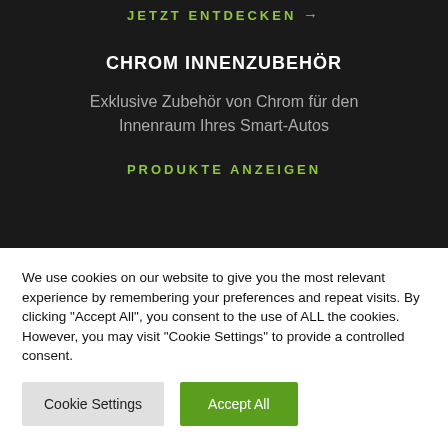JETZT ENTDECKEN →
CHROM INNENZUBEHÖR
Exklusive Zubehör von Chrom für den Innenraum Ihres Smart-Autos
PRODUKTE ANZEIGEN
We use cookies on our website to give you the most relevant experience by remembering your preferences and repeat visits. By clicking "Accept All", you consent to the use of ALL the cookies. However, you may visit "Cookie Settings" to provide a controlled consent.
Cookie Settings
Accept All